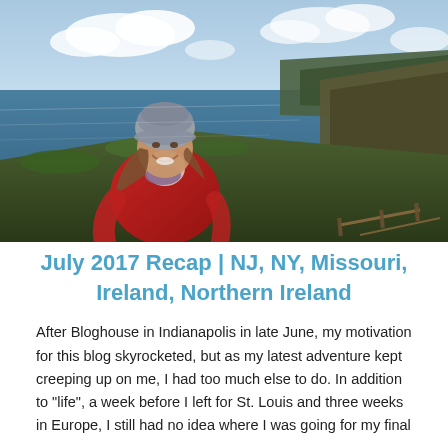[Figure (photo): A smiling woman in a red jacket and gray knit beanie stands on a coastal cliff overlooking a dramatic rocky coastline with blue water and green hills in the background under a partly cloudy sky.]
July 2017 Recap | NJ, NY, Missouri, Ireland, Northern Ireland
After Bloghouse in Indianapolis in late June, my motivation for this blog skyrocketed, but as my latest adventure kept creeping up on me, I had too much else to do. In addition to "life", a week before I left for St. Louis and three weeks in Europe, I still had no idea where I was going for my final